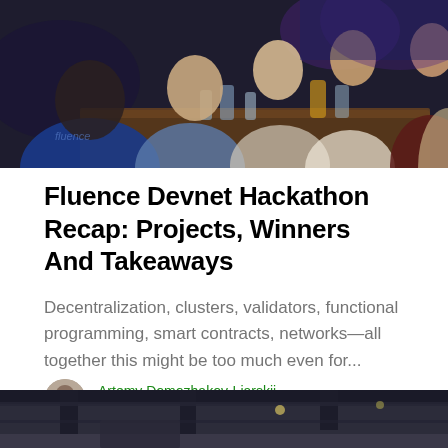[Figure (photo): Group of people sitting around a table in a dimly lit bar/restaurant setting, having drinks and conversation. One person in foreground wears a blue hoodie with text.]
Fluence Devnet Hackathon Recap: Projects, Winners And Takeaways
Decentralization, clusters, validators, functional programming, smart contracts, networks—all together this might be too much even for...
Artemy Domozhakov-Liarskii
Apr 17, 2019 · 5 min read
[Figure (photo): Interior of a venue or workshop space with industrial ceiling visible at the bottom of the page.]